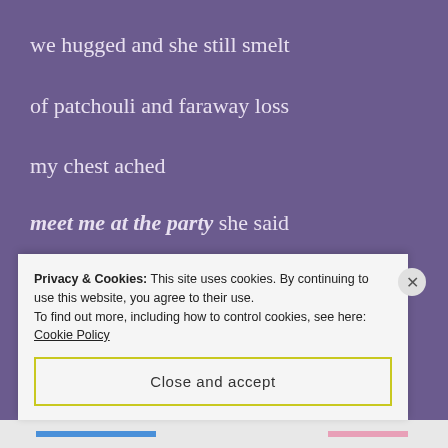we hugged and she still smelt
of patchouli and faraway loss
my chest ached
meet me at the party she said
waving with her finger tips
like a starlet biting into pomegranate
Privacy & Cookies: This site uses cookies. By continuing to use this website, you agree to their use.
To find out more, including how to control cookies, see here: Cookie Policy
Close and accept